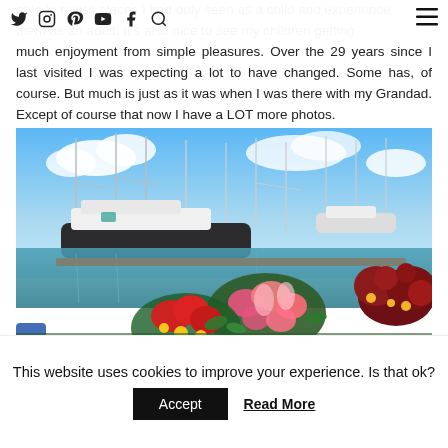Navigation bar with social icons: Twitter, Instagram, Pinterest, YouTube, Facebook, Search, and hamburger menu
able to revisit places I had only seen as a child and experience them as an adult. It's also nice to see my children getting much enjoyment from simple pleasures. Over the 29 years since I last visited I was expecting a lot to have changed. Some has, of course. But much is just as it was when I was there with my Grandad. Except of course that now I have a LOT more photos.
[Figure (photo): A marina with sailboats and yachts moored in calm water under a blue sky with clouds, in the foreground are vibrant pink, red, and yellow flowers in a planter.]
This website uses cookies to improve your experience. Is that ok?
Accept  Read More